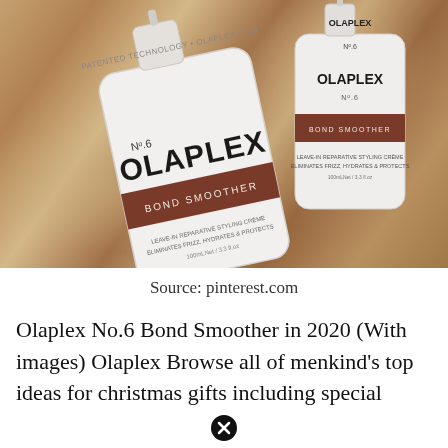[Figure (photo): Two Olaplex No.6 Bond Smoother bottles on a shiny bronze/copper satin fabric background. The front bottle is large, angled, showing 'OLAPLEX No.6 BOND SMOOTHER' label with brown stripe. The back bottle is upright showing 'OLAPLEX No.6 BOND SMOOTHER' with product description text.]
Source: pinterest.com
Olaplex No.6 Bond Smoother in 2020 (With images) Olaplex Browse all of menkind's top ideas for christmas gifts including special offers and...